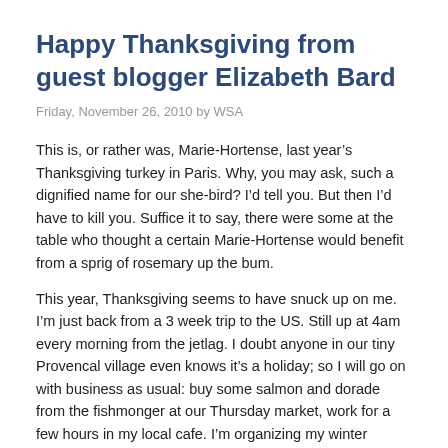Happy Thanksgiving from guest blogger Elizabeth Bard
Friday, November 26, 2010 by WSA
This is, or rather was, Marie-Hortense, last year’s Thanksgiving turkey in Paris. Why, you may ask, such a dignified name for our she-bird? I’d tell you. But then I’d have to kill you. Suffice it to say, there were some at the table who thought a certain Marie-Hortense would benefit from a sprig of rosemary up the bum.
This year, Thanksgiving seems to have snuck up on me. I’m just back from a 3 week trip to the US. Still up at 4am every morning from the jetlag. I doubt anyone in our tiny Provencal village even knows it’s a holiday; so I will go on with business as usual: buy some salmon and dorade from the fishmonger at our Thursday market, work for a few hours in my local cafe. I’m organizing my winter pantry, cocao powder and lots of whole wheat pasta – as they are predicting snow this weekend.